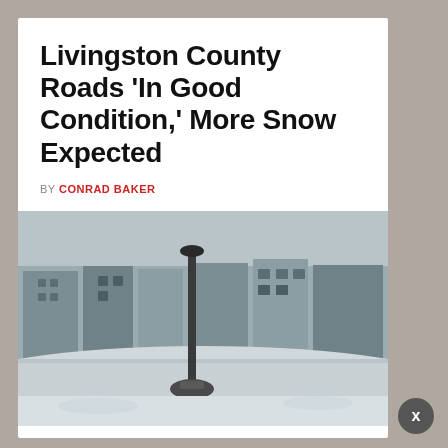Livingston County Roads ‘In Good Condition,’ More Snow Expected
BY CONRAD BAKER
[Figure (photo): Snow-covered downtown street scene in Livingston County with a lamp post in the foreground and brick commercial buildings in the background]
LIVINGSTON COUNTY – Livingston County’s